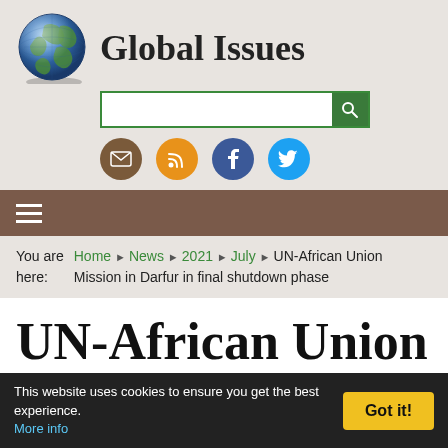Global Issues
[Figure (logo): Globe icon for Global Issues website]
You are here: Home > News > 2021 > July > UN-African Union Mission in Darfur in final shutdown phase
UN-African Union Mission in Darfur in final shutdown phase
This website uses cookies to ensure you get the best experience. More info